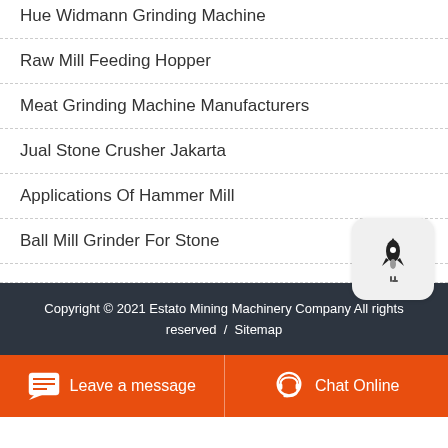Hue Widmann Grinding Machine
Raw Mill Feeding Hopper
Meat Grinding Machine Manufacturers
Jual Stone Crusher Jakarta
Applications Of Hammer Mill
Ball Mill Grinder For Stone
Copyright © 2021 Estato Mining Machinery Company All rights reserved  /  Sitemap
Leave a message   Chat Online